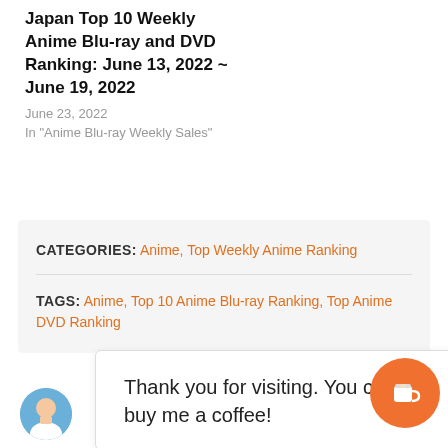Japan Top 10 Weekly Anime Blu-ray and DVD Ranking: June 13, 2022 ~ June 19, 2022
June 23, 2022
In "Anime Blu-ray Weekly Sales"
CATEGORIES: Anime, Top Weekly Anime Ranking
TAGS: Anime, Top 10 Anime Blu-ray Ranking, Top Anime DVD Ranking
Thank you for visiting. You can now buy me a coffee!
An Anime, Manga and Video Game...